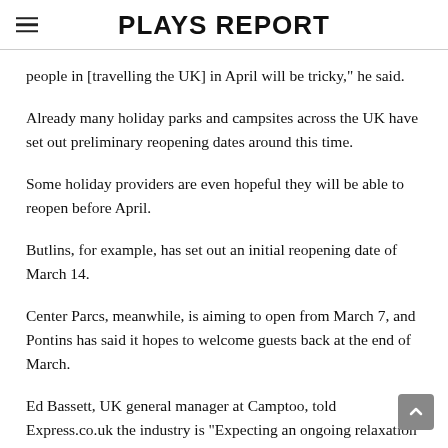PLAYS REPORT
people in [travelling the UK] in April will be tricky," he said.
Already many holiday parks and campsites across the UK have set out preliminary reopening dates around this time.
Some holiday providers are even hopeful they will be able to reopen before April.
Butlins, for example, has set out an initial reopening date of March 14.
Center Parcs, meanwhile, is aiming to open from March 7, and Pontins has said it hopes to welcome guests back at the end of March.
Ed Bassett, UK general manager at Camptoo, told Express.co.uk the industry is “Expecting an ongoing relaxation of travel rules